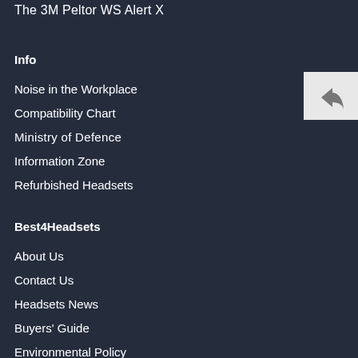The 3M Peltor WS Alert X
Info
Noise in the Workplace
Compatibility Chart
Ministry of Defence
Information Zone
Refurbished Headsets
Best4Headsets
About Us
Contact Us
Headsets News
Buyers' Guide
Environmental Policy
[Figure (illustration): Back/reply arrow icon button in a light gray box positioned at the right side of the page]